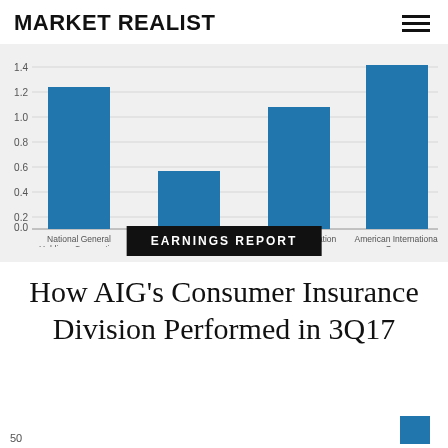MARKET REALIST
[Figure (bar-chart): Bar chart of insurance company values]
EARNINGS REPORT
How AIG's Consumer Insurance Division Performed in 3Q17
50